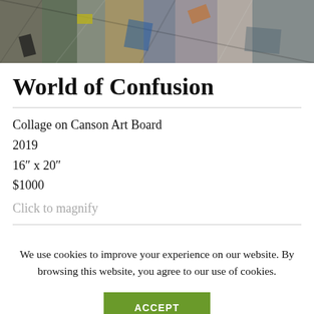[Figure (photo): Horizontal banner photo showing a collage artwork with various colorful and textured materials arranged diagonally]
World of Confusion
Collage on Canson Art Board
2019
16″ x 20″
$1000
Click to magnify
We use cookies to improve your experience on our website. By browsing this website, you agree to our use of cookies.
ACCEPT